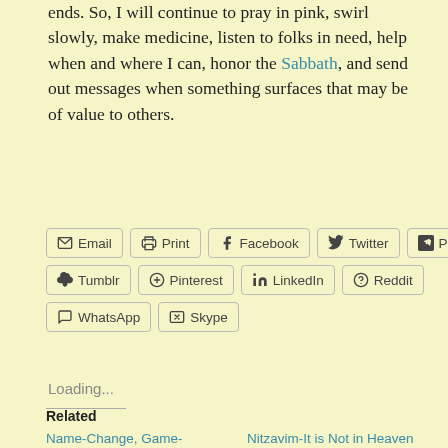ends. So, I will continue to pray in pink, swirl slowly, make medicine, listen to folks in need, help when and where I can, honor the Sabbath, and send out messages when something surfaces that may be of value to others.
[Figure (other): Social sharing buttons row 1: Email, Print, Facebook, Twitter, Pocket; row 2: Tumblr, Pinterest, LinkedIn, Reddit; row 3: WhatsApp, Skype]
Loading...
Related
Name-Change, Game-Change ~ Embodied Relationship to
Nitzavim-It is Not in Heaven
September 27, 2019